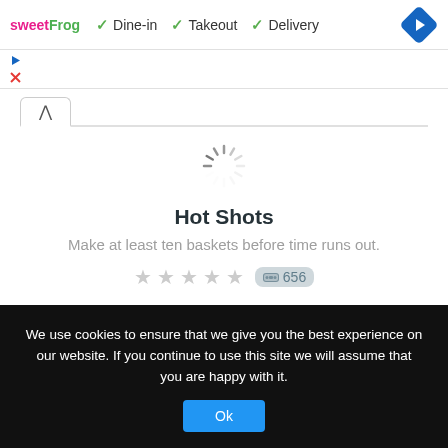sweetFrog ✓ Dine-in ✓ Takeout ✓ Delivery
[Figure (other): Loading spinner (animated circular dashed indicator)]
Hot Shots
Make at least ten baskets before time runs out.
★★★★★ 🎮 656
We use cookies to ensure that we give you the best experience on our website. If you continue to use this site we will assume that you are happy with it.